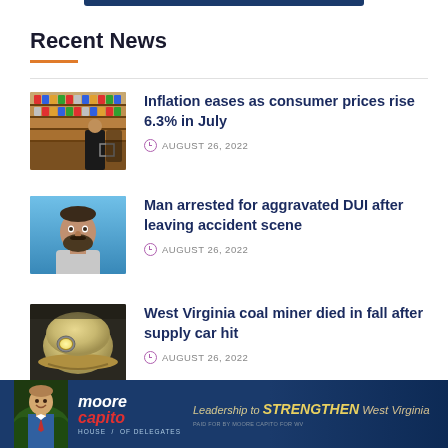Recent News
[Figure (photo): Person shopping at a grocery store shelf]
Inflation eases as consumer prices rise 6.3% in July
AUGUST 26, 2022
[Figure (photo): Mugshot of a man with beard on blue background]
Man arrested for aggravated DUI after leaving accident scene
AUGUST 26, 2022
[Figure (photo): Mining helmet with light on dark background]
West Virginia coal miner died in fall after supply car hit
AUGUST 26, 2022
[Figure (photo): Moore Capito House of Delegates advertisement banner: Leadership to STRENGTHEN West Virginia. Paid for by Moore Capito for WV.]